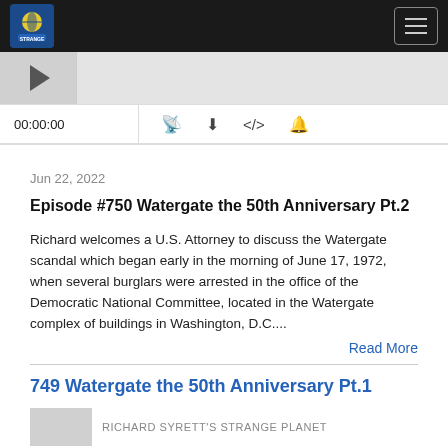Richard Syrett's Strange Planet podcast header with logo and navigation menu
[Figure (screenshot): Podcast audio player with play button, progress bar, time display 00:00:00, and control icons for RSS, download, embed, and share]
Jun 22, 2022
Episode #750 Watergate the 50th Anniversary Pt.2
Richard welcomes a U.S. Attorney to discuss the Watergate scandal which began early in the morning of June 17, 1972, when several burglars were arrested in the office of the Democratic National Committee, located in the Watergate complex of buildings in Washington, D.C....
Read More
749 Watergate the 50th Anniversary Pt.1
RICHARD SYRETT'S STRANGE PLANET